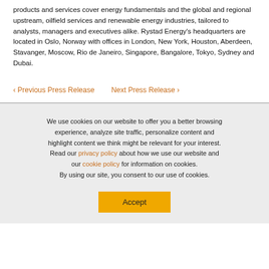products and services cover energy fundamentals and the global and regional upstream, oilfield services and renewable energy industries, tailored to analysts, managers and executives alike. Rystad Energy's headquarters are located in Oslo, Norway with offices in London, New York, Houston, Aberdeen, Stavanger, Moscow, Rio de Janeiro, Singapore, Bangalore, Tokyo, Sydney and Dubai.
‹ Previous Press Release   Next Press Release ›
We use cookies on our website to offer you a better browsing experience, analyze site traffic, personalize content and highlight content we think might be relevant for your interest. Read our privacy policy about how we use our website and our cookie policy for information on cookies. By using our site, you consent to our use of cookies.
Accept